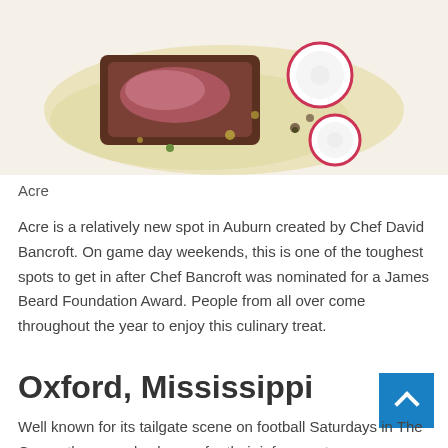[Figure (photo): Close-up food photo of a plated meat dish with sliced radishes and a light yellow sauce on a white plate]
Acre
Acre is a relatively new spot in Auburn created by Chef David Bancroft. On game day weekends, this is one of the toughest spots to get in after Chef Bancroft was nominated for a James Beard Foundation Award. People from all over come throughout the year to enjoy this culinary treat.
Oxford, Mississippi
Well known for its tailgate scene on football Saturdays in The Grove, they are also known for their infamous town